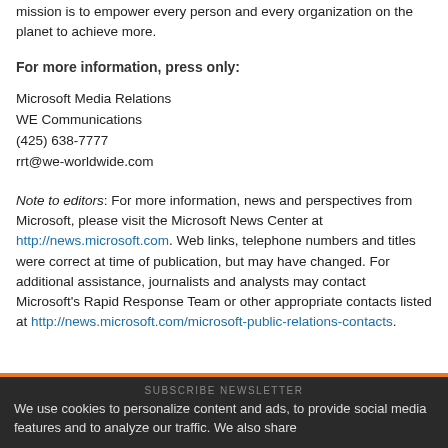mission is to empower every person and every organization on the planet to achieve more.
For more information, press only:
Microsoft Media Relations
WE Communications
(425) 638-7777
rrt@we-worldwide.com
Note to editors: For more information, news and perspectives from Microsoft, please visit the Microsoft News Center at http://news.microsoft.com. Web links, telephone numbers and titles were correct at time of publication, but may have changed. For additional assistance, journalists and analysts may contact Microsoft's Rapid Response Team or other appropriate contacts listed at http://news.microsoft.com/microsoft-public-relations-contacts.
SUBSCRIBE NEWSLETTER
We use cookies to personalize content and ads, to provide social media features and to analyze our traffic. We also share